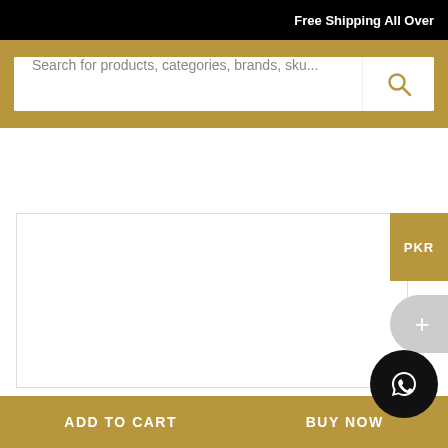Free Shipping All Over
Search for products, categories, brands, sku...
[Figure (screenshot): Empty product image area with border]
PKR
+
We use cookies to ensure that we give you the best experience on our website. If you continue to use this site we will assume that yo... y
ADD TO CART   BUY NOW